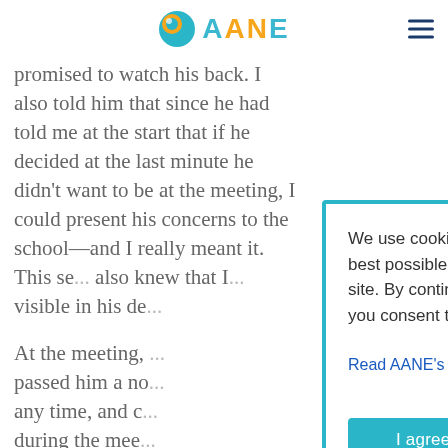AANE (logo with navigation)
promised to watch his back. I also told him that since he had told me at the start that if he decided at the last minute he didn't want to be at the meeting, I could present his concerns to the school—and I really meant it. This se... also knew that I... visible in his de...
At the meeting, ... passed him a no... any time, and c... during the mee... great! He asked... TEAM meeting t... understand.
What happened... important was the TEAM finally heard him. His anxiety...
[Figure (screenshot): Cookie consent modal dialog with teal border. Text reads: 'We use cookies to give you the best possible experience on our site. By continuing to use the site, you consent to our use of cookies.' Link: 'Read AANE's Privacy Policy'. Button: 'I agree to cookie use'.]